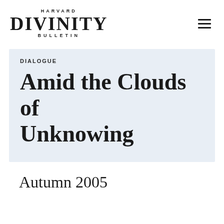Harvard Divinity Bulletin
DIALOGUE
Amid the Clouds of Unknowing
Autumn 2005